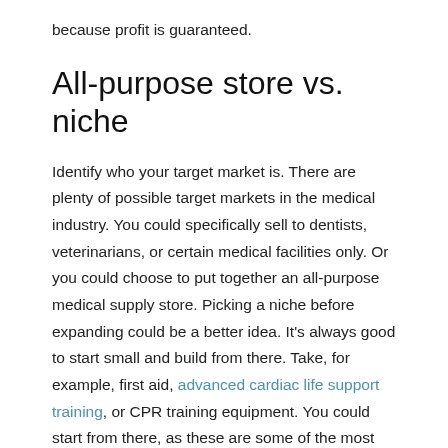because profit is guaranteed.
All-purpose store vs. niche
Identify who your target market is. There are plenty of possible target markets in the medical industry. You could specifically sell to dentists, veterinarians, or certain medical facilities only. Or you could choose to put together an all-purpose medical supply store. Picking a niche before expanding could be a better idea. It's always good to start small and build from there. Take, for example, first aid, advanced cardiac life support training, or CPR training equipment. You could start from there, as these are some of the most basic medical supplies that people need. You could even expand your business and turn it into a basic life support training facility. See, start from one point and then see where it takes you.